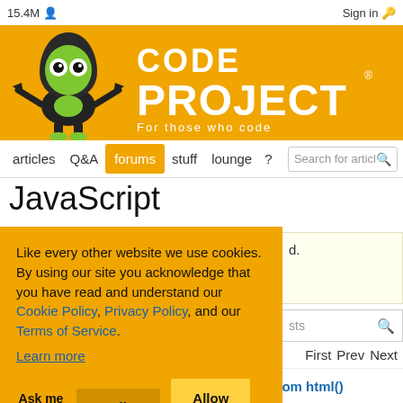15.4M  Sign in
[Figure (logo): CodeProject logo with mascot (green alien creature) and text CODE PROJECT For those who code on orange background]
articles  Q&A  forums  stuff  lounge  ?  Search for articles
JavaScript
Like every other website we use cookies. By using our site you acknowledge that you have read and understand our Cookie Policy, Privacy Policy, and our Terms of Service. Learn more
Ask me later  Decline  Allow cookies
d.
sts
First  Prev  Next
Re: Trying to read a value that is coming from html()